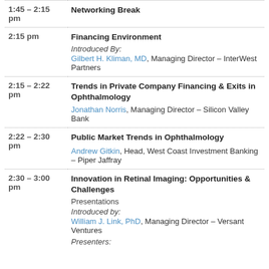| Time | Session |
| --- | --- |
| 1:45 – 2:15 pm | Networking Break |
| 2:15 pm | Financing Environment
Introduced By:
Gilbert H. Kliman, MD, Managing Director – InterWest Partners |
| 2:15 – 2:22 pm | Trends in Private Company Financing & Exits in Ophthalmology
Jonathan Norris, Managing Director – Silicon Valley Bank |
| 2:22 – 2:30 pm | Public Market Trends in Ophthalmology
Andrew Gitkin, Head, West Coast Investment Banking – Piper Jaffray |
| 2:30 – 3:00 pm | Innovation in Retinal Imaging: Opportunities & Challenges
Presentations
Introduced by:
William J. Link, PhD, Managing Director – Versant Ventures
Presenters: |